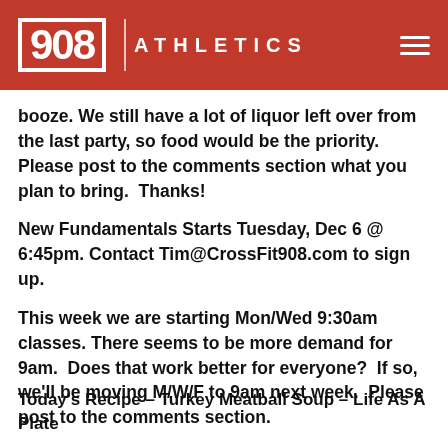908 ATHLETICS
booze. We still have a lot of liquor left over from the last party, so food would be the priority. Please post to the comments section what you plan to bring.  Thanks!
New Fundamentals Starts Tuesday, Dec 6 @ 6:45pm. Contact Tim@CrossFit908.com to sign up.
This week we are starting Mon/Wed 9:30am classes. There seems to be more demand for 9am.  Does that work better for everyone?  If so, we'll be moving M/W/F to 9am next week.  Please post to the comments section.
Today's Recipe – Turkey Meatball Soup – Life As A Plate